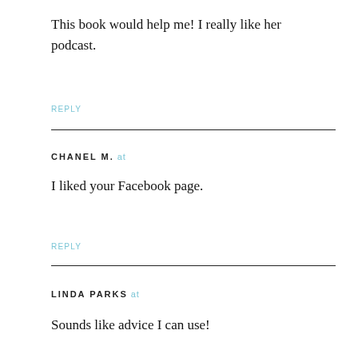This book would help me! I really like her podcast.
REPLY
CHANEL M. at
I liked your Facebook page.
REPLY
LINDA PARKS at
Sounds like advice I can use!